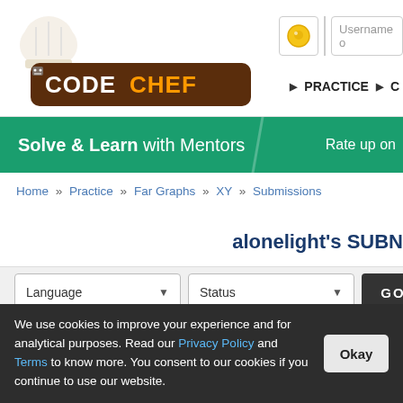[Figure (logo): CodeChef logo with chef hat graphic, dark brown rounded rectangle with white text 'CODECHEF', subtitle 'An unacademy Educational Initiative']
Username o
▶ PRACTICE  ▶ C
Solve & Learn with Mentors    Rate up on
Home » Practice » Far Graphs » XY » Submissions
alonelight's SUBN
Language  Status  GO
| ID | Date/Time | Username |
| --- | --- | --- |
We use cookies to improve your experience and for analytical purposes. Read our Privacy Policy and Terms to know more. You consent to our cookies if you continue to use our website.